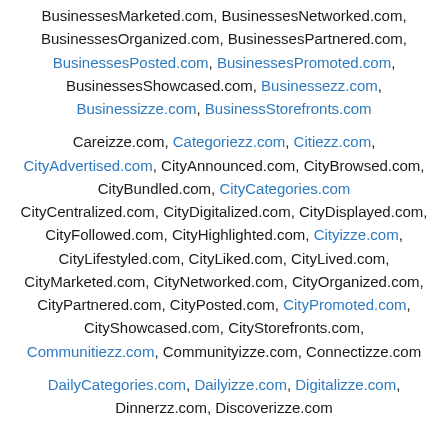BusinessesMarketed.com, BusinessesNetworked.com, BusinessesOrganized.com, BusinessesPartnered.com, BusinessesPosted.com, BusinessesPromoted.com, BusinessesShowcased.com, Businessezz.com, Businessizze.com, BusinessStorefronts.com
Careizze.com, Categoriezz.com, Citiezz.com, CityAdvertised.com, CityAnnounced.com, CityBrowsed.com, CityBundled.com, CityCategories.com CityCentralized.com, CityDigitalized.com, CityDisplayed.com, CityFollowed.com, CityHighlighted.com, Cityizze.com, CityLifestyled.com, CityLiked.com, CityLived.com, CityMarketed.com, CityNetworked.com, CityOrganized.com, CityPartnered.com, CityPosted.com, CityPromoted.com, CityShowcased.com, CityStorefronts.com, Communitiezz.com, Communityizze.com, Connectizze.com
DailyCategories.com, Dailyizze.com, Digitalizze.com, Dinnerzz.com, Discoverizze.com